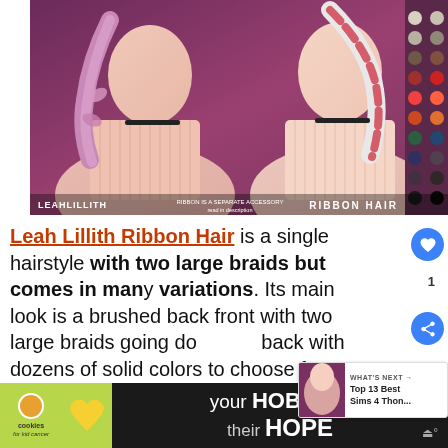[Figure (photo): Screenshot of a Sims 4 custom content promotional image for 'Leah Lillith Ribbon Hair' showing two Sim characters with large braids and off-shoulder tops, with a color swatch panel on the right. Text overlay reads: LEAHLILLITH | RIBBON IS A SEPARATE ACCESSORY read in description | RIBBON HAIR]
Leah Lillith Ribbon Hair is a single hairstyle with two large braids but comes in many variations. Its main look is a brushed back front with two large braids going down the back with dozens of solid colors to choose from
[Figure (screenshot): WHAT'S NEXT arrow button with thumbnail and text 'Top 13 Best Sims 4 Thon...']
[Figure (photo): Advertisement banner: 'your HOBBY is their HOPE' with cookies for kid cancer logo and heart-shaped yellow cookie image]